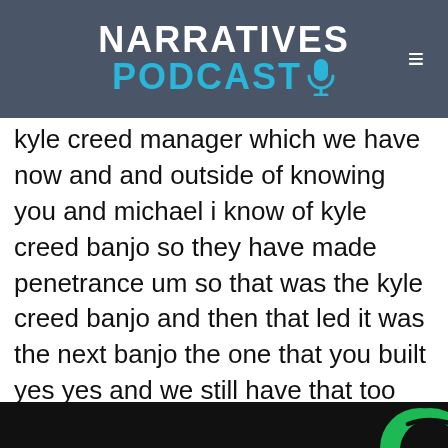NARRATIVES PODCAST
kyle creed manager which we have now and and outside of knowing you and michael i know of kyle creed banjo so they have made penetrance um so that was the kyle creed banjo and then that led it was the next banjo the one that you built yes yes and we still have that too and so that was the was that the first instrument that you really that you have memory of putting together a building yeah because uh we had contacts and uh we were sailing we we always hung out at the washington salem arena on weekends and holidays and we're always
[Figure (logo): Spotify logo partial circle visible in bottom right corner]